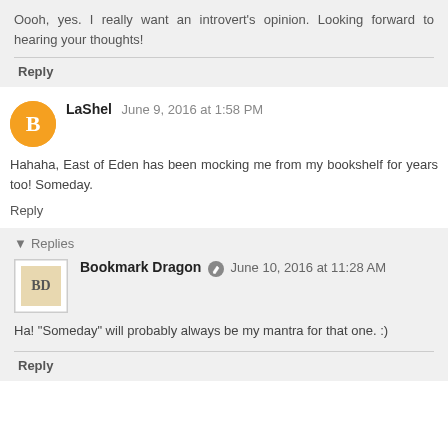Oooh, yes. I really want an introvert's opinion. Looking forward to hearing your thoughts!
Reply
LaShel June 9, 2016 at 1:58 PM
Hahaha, East of Eden has been mocking me from my bookshelf for years too! Someday.
Reply
Replies
Bookmark Dragon June 10, 2016 at 11:28 AM
Ha! "Someday" will probably always be my mantra for that one. :)
Reply